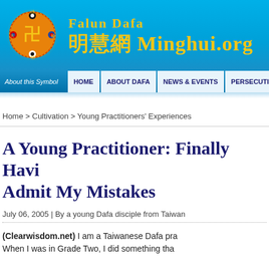[Figure (logo): Falun Dafa Minghui.org website header with logo and site name in yellow on blue background]
HOME   ABOUT DAFA   NEWS & EVENTS   PERSECUTION
Home > Cultivation > Young Practitioners' Experiences
A Young Practitioner: Finally Having to Admit My Mistakes
July 06, 2005 | By a young Dafa disciple from Taiwan
(Clearwisdom.net) I am a Taiwanese Dafa pra... When I was in Grade Two, I did something tha...